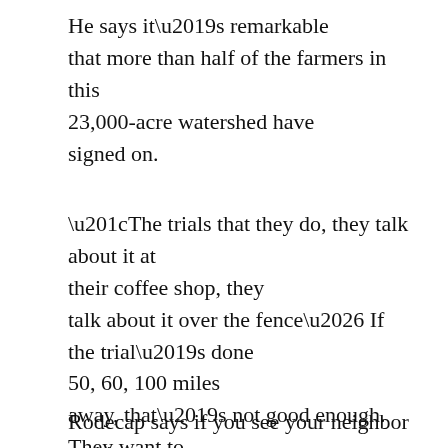He says it’s remarkable that more than half of the farmers in this 23,000-acre watershed have signed on.
“The trials that they do, they talk about it at their coffee shop, they talk about it over the fence… If the trial’s done 50, 60, 100 miles away, that’s not good enough. They want to know how it’s gonna work on my farm.”
Rodecap says if you see your neighbor making a